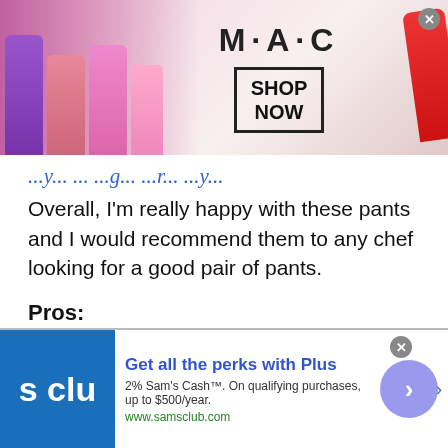[Figure (photo): MAC cosmetics advertisement banner showing lipsticks and MAC logo with SHOP NOW box]
Overall, I'm really happy with these pants and I would recommend them to any chef looking for a good pair of pants.
Pros:
-Light and comfortable fabric
-Elastic waistband for a comfortable fit
[Figure (photo): Sam's Club advertisement: Get all the perks with Plus. 2% Sam's Cash™. On qualifying purchases, up to $500/year. www.samsclub.com]